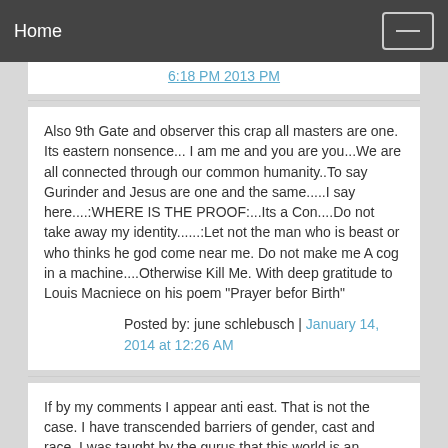Home
6:18 PM 2013 PM
Also 9th Gate and observer this crap all masters are one. Its eastern nonsence... I am me and you are you...We are all connected through our common humanity..To say Gurinder and Jesus are one and the same.....I say here....:WHERE IS THE PROOF:...Its a Con....Do not take away my identity......:Let not the man who is beast or who thinks he god come near me. Do not make me A cog in a machine....Otherwise Kill Me. With deep gratitude to Louis Macniece on his poem "Prayer befor Birth"
Posted by: june schlebusch | January 14, 2014 at 12:26 AM
If by my comments I appear anti east. That is not the case. I have transcended barriers of gender, cast and race. I was taught by the gurus that this world is an illusion. That was misleading. It nearly destroyed my soul